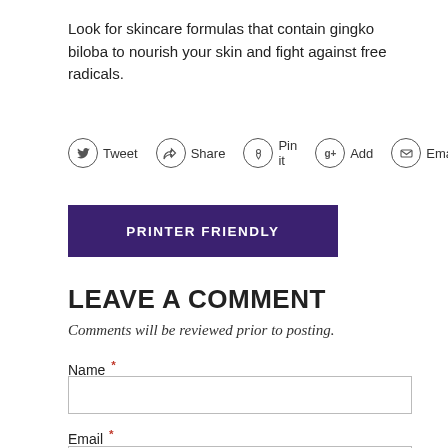Look for skincare formulas that contain gingko biloba to nourish your skin and fight against free radicals.
[Figure (infographic): Social sharing buttons: Tweet (Twitter), Share (Facebook), Pin it (Pinterest), Add (Google+), Email]
PRINTER FRIENDLY
LEAVE A COMMENT
Comments will be reviewed prior to posting.
Name *
Email *